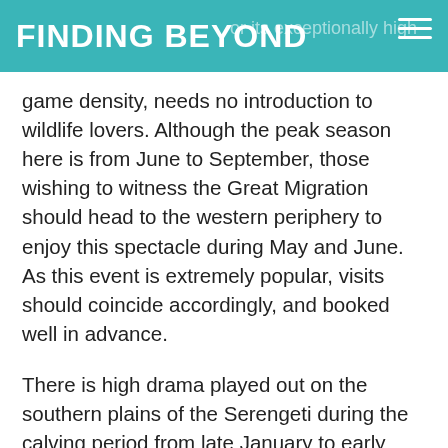FINDING BEYOND
game density, needs no introduction to wildlife lovers. Although the peak season here is from June to September, those wishing to witness the Great Migration should head to the western periphery to enjoy this spectacle during May and June. As this event is extremely popular, visits should coincide accordingly, and booked well in advance.
There is high drama played out on the southern plains of the Serengeti during the calving period from late January to early March. The fragile new-borns make easy targets for the hungry lions and cheetahs who keep an eager eye out for them.